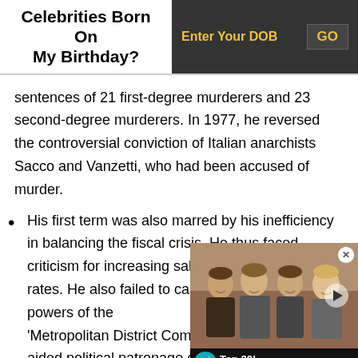Celebrities Born On My Birthday?
sentences of 21 first-degree murderers and 23 second-degree murderers. In 1977, he reversed the controversial conviction of Italian anarchists Sacco and Vanzetti, who had been accused of murder.
His first term was also marred by his inefficiency in balancing the fiscal crisis. He thus faced criticism for increasing sales and property tax rates. He also failed to cancel the authorities and powers of the 'Metropolitan District Comm... aided political patronage en... apparently used its influenc...
[Figure (photo): Overlay video thumbnail showing four men smiling, with WatchMojo Top 20 branding at the bottom]